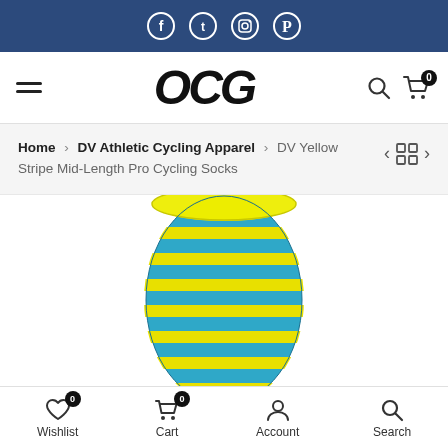Social media icons bar: Facebook, Twitter, Instagram, Pinterest
[Figure (screenshot): OCG website header with hamburger menu, OCG logo, search and cart icons]
Home > DV Athletic Cycling Apparel > DV Yellow Stripe Mid-Length Pro Cycling Socks
[Figure (photo): DV Yellow Stripe Mid-Length Pro Cycling Sock - yellow and blue striped cycling sock shown upright]
Wishlist 0 | Cart 0 | Account | Search